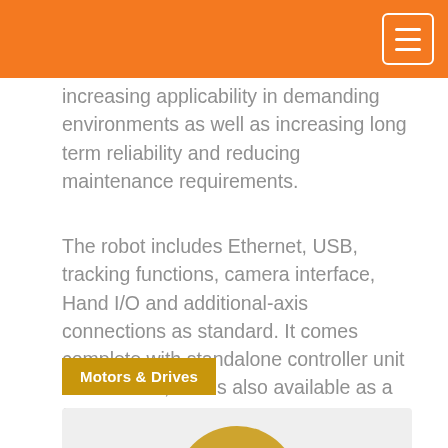increasing applicability in demanding environments as well as increasing long term reliability and reducing maintenance requirements.
The robot includes Ethernet, USB, tracking functions, camera interface, Hand I/O and additional-axis connections as standard. It comes complete with standalone controller unit as standard, and is also available as a fully integrated package where the robot controller is embedded in an iQ Platform module for direct integration with Mitsubishi PLCs and PACs.
Motors & Drives
[Figure (photo): Partial view of a circular mechanical or motor component on a light grey card background]